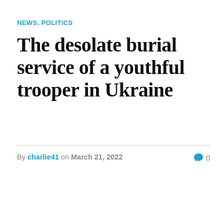NEWS, POLITICS
The desolate burial service of a youthful trooper in Ukraine
By charlie41 on March 21, 2022  0